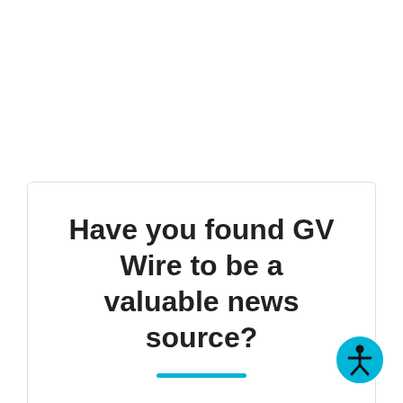Have you found GV Wire to be a valuable news source?
[Figure (illustration): Teal circular accessibility icon button with a human figure in the center, positioned bottom-right of the card]